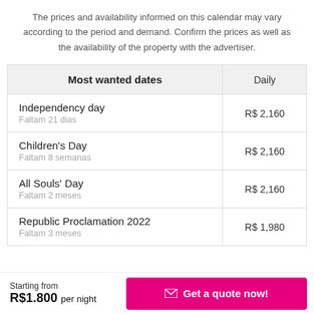The prices and availability informed on this calendar may vary according to the period and demand. Confirm the prices as well as the availability of the property with the advertiser.
| Most wanted dates | Daily |
| --- | --- |
| Independency day
Faltam 21 dias | R$ 2,160 |
| Children's Day
Faltam 8 semanas | R$ 2,160 |
| All Souls' Day
Faltam 2 meses | R$ 2,160 |
| Republic Proclamation 2022
Faltam 3 meses | R$ 1,980 |
Starting from R$1.800 per night
Get a quote now!